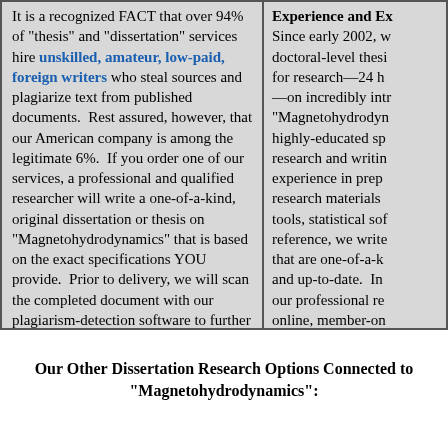It is a recognized FACT that over 94% of "thesis" and "dissertation" services hire unskilled, amateur, low-paid, foreign writers who steal sources and plagiarize text from published documents. Rest assured, however, that our American company is among the legitimate 6%. If you order one of our services, a professional and qualified researcher will write a one-of-a-kind, original dissertation or thesis on "Magnetohydrodynamics" that is based on the exact specifications YOU provide. Prior to delivery, we will scan the completed document with our plagiarism-detection software to further ensure that all text is original and all sources are properly cited throughout the paper and on a bibliography, works cited, and/or references page. Our dissertation or thesis will be completely unique, providing you with a solid foundation of "Magnetohydrodynamics" research. You may visit our FAQ page for more information.
Experience and Ex...
Since early 2002, w... doctoral-level thesi... for research—24 h... —on incredibly intr... "Magnetohydrodyn... highly-educated sp... research and writin... experience in prep... research materials... tools, statistical sof... reference, we write... that are one-of-a-k... and up-to-date. In... our professional re... online, member-on... contain millions of b... magazines, and va... conceivable "Magn... subject. And reme... topic, of ANY lengt... ANY delivery date-...
Our Other Dissertation Research Options Connected to "Magnetohydrodynamics":